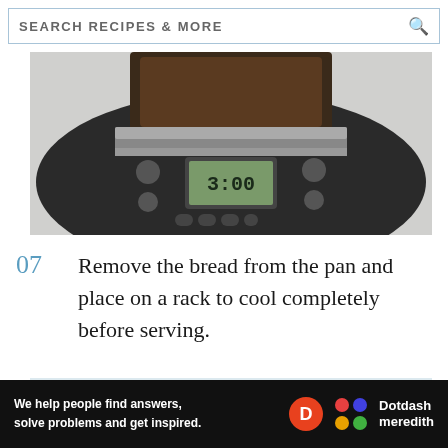SEARCH RECIPES & MORE
[Figure (photo): Top-down view of a bread machine with digital display showing 3:00, control buttons visible, bread visible inside machine]
07  Remove the bread from the pan and place on a rack to cool completely before serving.
[Figure (photo): Partial view of a cooling rack on a light surface]
Ad
[Figure (logo): Dotdash Meredith advertisement banner: We help people find answers, solve problems and get inspired. Dotdash Meredith logo with colorful dots.]